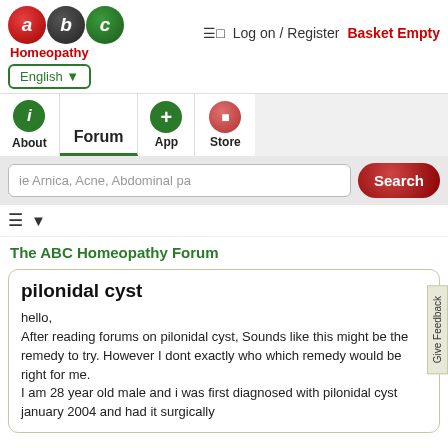[Figure (logo): ABC Homeopathy logo with three colored circles (red 'a', dark 'b', green 'c') and red 'Homeopathy' text below]
≡□  Log on / Register  Basket Empty
English ▼
[Figure (screenshot): Navigation bar with About (green i circle), Forum (active tab), App (green + circle), Store (pink circle) tabs]
ie Arnica, Acne, Abdominal pa
Search
The ABC Homeopathy Forum
pilonidal cyst
hello,
After reading forums on pilonidal cyst, Sounds like this might be the remedy to try. However I dont exactly who which remedy would be right for me.
I am 28 year old male and i was first diagnosed with pilonidal cyst january 2004 and had it surgically